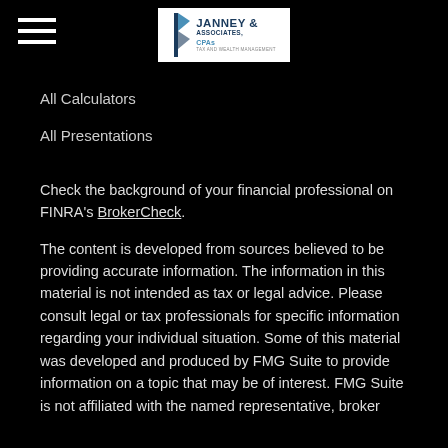[Figure (logo): Janney & Associates, CPAs - Tax and Wealth Management logo with blue text and leaf/flag icon on white background]
All Calculators
All Presentations
Check the background of your financial professional on FINRA's BrokerCheck.
The content is developed from sources believed to be providing accurate information. The information in this material is not intended as tax or legal advice. Please consult legal or tax professionals for specific information regarding your individual situation. Some of this material was developed and produced by FMG Suite to provide information on a topic that may be of interest. FMG Suite is not affiliated with the named representative, broker